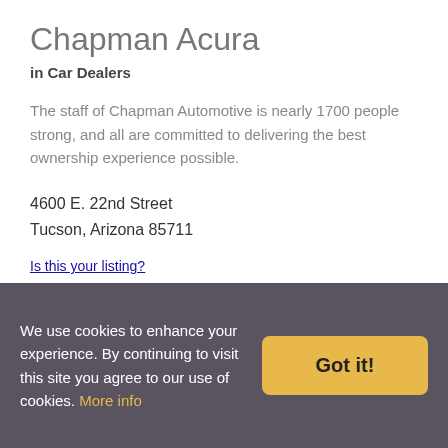Chapman Acura
in Car Dealers
The staff of Chapman Automotive is nearly 1700 people strong, and all are committed to delivering the best ownership experience possible.
4600 E. 22nd Street
Tucson, Arizona 85711
Is this your listing?
Bookmark this | Send E-mail
520-445-4061
We use cookies to enhance your experience. By continuing to visit this site you agree to our use of cookies. More info